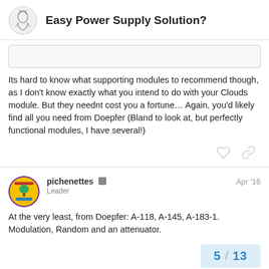Easy Power Supply Solution?
Its hard to know what supporting modules to recommend though, as I don't know exactly what you intend to do with your Clouds module. But they neednt cost you a fortune… Again, you'd likely find all you need from Doepfer (Bland to look at, but perfectly functional modules, I have several!)
pichenettes Leader Apr '16
At the very least, from Doepfer: A-118, A-145, A-183-1. Modulation, Random and an attenuator.
5 / 13